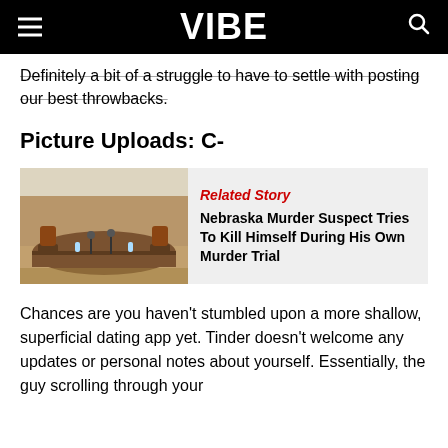VIBE
Definitely a bit of a struggle to have to settle with posting our best throwbacks.
Picture Uploads: C-
[Figure (photo): Courtroom interior with wooden judge's bench, chairs, and microphones]
Related Story
Nebraska Murder Suspect Tries To Kill Himself During His Own Murder Trial
Chances are you haven't stumbled upon a more shallow, superficial dating app yet. Tinder doesn't welcome any updates or personal notes about yourself. Essentially, the guy scrolling through your